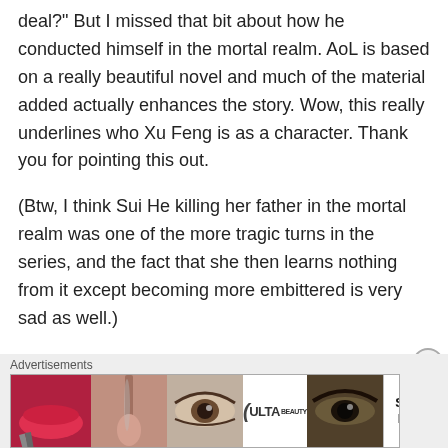deal?" But I missed that bit about how he conducted himself in the mortal realm. AoL is based on a really beautiful novel and much of the material added actually enhances the story. Wow, this really underlines who Xu Feng is as a character. Thank you for pointing this out.

(Btw, I think Sui He killing her father in the mortal realm was one of the more tragic turns in the series, and the fact that she then learns nothing from it except becoming more embittered is very sad as well.)
Like
Advertisements
[Figure (photo): ULTA beauty advertisement banner showing makeup imagery including lips, makeup brush, eye, ULTA logo, another eye, and SHOP NOW button]